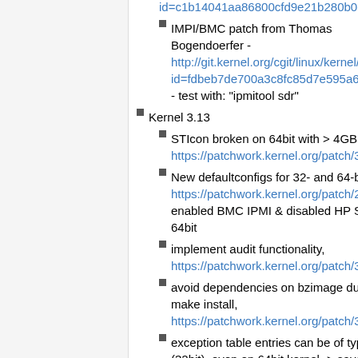id=c1b14041aa86800cfd9e21b280b0eaee... (link, truncated)
IMPI/BMC patch from Thomas Bogendoerfer - http://git.kernel.org/cgit/linux/kernel/git/torv... id=fdbeb7de700a3c8fc85d7e595a6bf1c92... - test with: "ipmitool sdr"
Kernel 3.13
STIcon broken on 64bit with > 4GB RAM - https://patchwork.kernel.org/patch/314962...
New defaultconfigs for 32- and 64-bit - https://patchwork.kernel.org/patch/282592... enabled BMC IPMI & disabled HP SDC for 64bit
implement audit functionality, https://patchwork.kernel.org/patch/304673...
avoid dependencies on bzimage during make install, https://patchwork.kernel.org/patch/306969...
exception table entries can be of type int (32bit), even on 64bit kernel -> saves space. - https://patchwork.kernel.org/patch/303380...